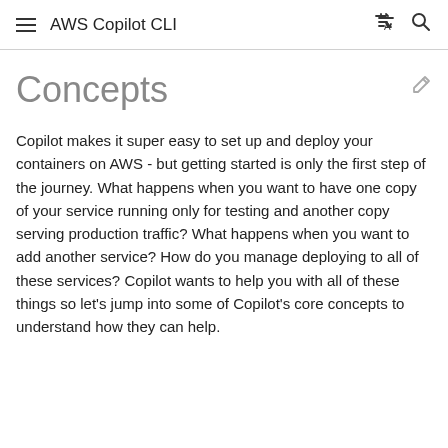AWS Copilot CLI
Concepts
Copilot makes it super easy to set up and deploy your containers on AWS - but getting started is only the first step of the journey. What happens when you want to have one copy of your service running only for testing and another copy serving production traffic? What happens when you want to add another service? How do you manage deploying to all of these services? Copilot wants to help you with all of these things so let's jump into some of Copilot's core concepts to understand how they can help.